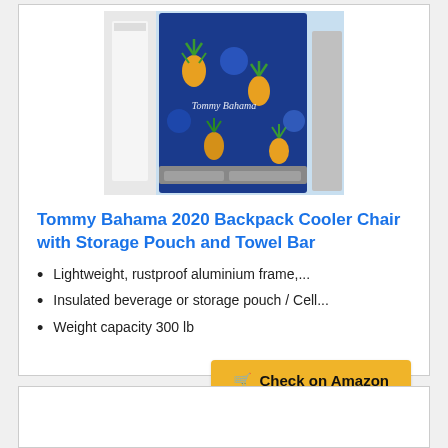[Figure (photo): Tommy Bahama backpack cooler chair with blue pineapple pattern fabric hanging on a rack with white towels]
Tommy Bahama 2020 Backpack Cooler Chair with Storage Pouch and Towel Bar
Lightweight, rustproof aluminium frame,...
Insulated beverage or storage pouch / Cell...
Weight capacity 300 lb
Check on Amazon